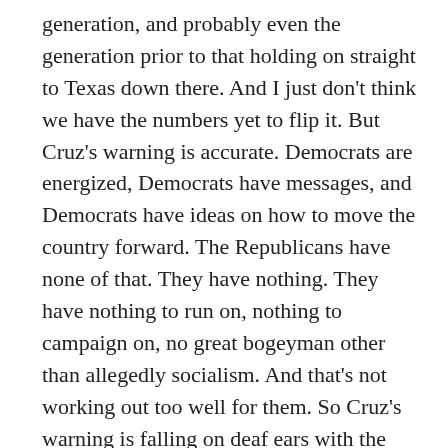generation, and probably even the generation prior to that holding on straight to Texas down there. And I just don't think we have the numbers yet to flip it. But Cruz's warning is accurate. Democrats are energized, Democrats have messages, and Democrats have ideas on how to move the country forward. The Republicans have none of that. They have nothing. They have nothing to run on, nothing to campaign on, no great bogeyman other than allegedly socialism. And that's not working out too well for them. So Cruz's warning is falling on deaf ears with the Republicans who refuse to admit that they've ever done anything wrong. And furthermore, refuse to ever do a single thing that will actually benefit the American public.